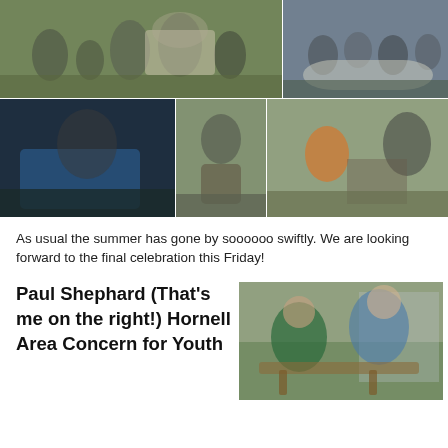[Figure (photo): Collage of children participating in outdoor summer activities including crafts and group work around tables]
As usual the summer has gone by soooooo swiftly. We are looking forward to the final celebration this Friday!
Paul Shephard (That's me on the right!) Hornell Area Concern for Youth
[Figure (photo): Two people working together on a hands-on outdoor activity, leaning over wood/rope construction]